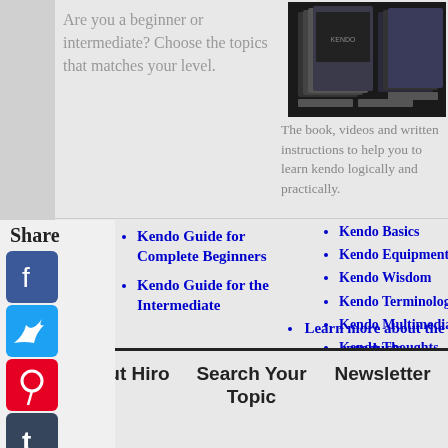Are you a beginner or intermediate?
Choose the topics that matches your level.
[Figure (photo): Product images of kendo books/videos stacked]
The book, videos and written instructions to help you to learn kendo logically and practically.
Kendo Guide for Complete Beginners
Kendo Guide for the Intermediate
Kendo Basics
Kendo Equipment
Kendo Wisdom
Kendo Terminology
Kendo Multimedia
Kendo Thoughts
Kendo Q & A
Learn more about the products
Share
About Hiro | Search Your Topic | Newsletter